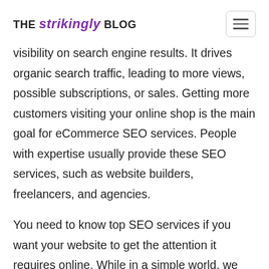THE strikingly BLOG
visibility on search engine results. It drives organic search traffic, leading to more views, possible subscriptions, or sales. Getting more customers visiting your online shop is the main goal for eCommerce SEO services. People with expertise usually provide these SEO services, such as website builders, freelancers, and agencies.
You need to know top SEO services if you want your website to get the attention it requires online. While in a simple world, we can just build a site, get it published, and wait for someone to